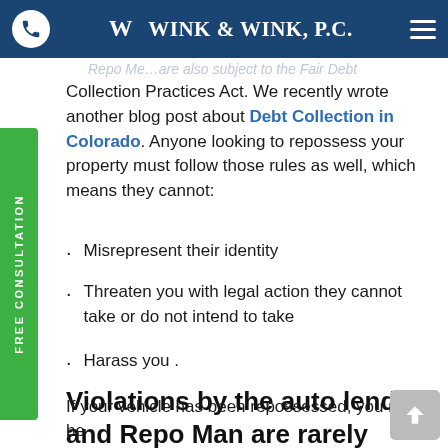Wink & Wink, P.C. — navigation bar with phone, logo, and menu
Collection Practices Act. We recently wrote another blog post about Debt Collection in Colorado. Anyone looking to repossess your property must follow those rules as well, which means they cannot:
Misrepresent their identity
Threaten you with legal action they cannot take or do not intend to take
Harass you .
Violations by the auto lender and Repo Man are rarely actionable
If your vehicle has been repossessed, you may be